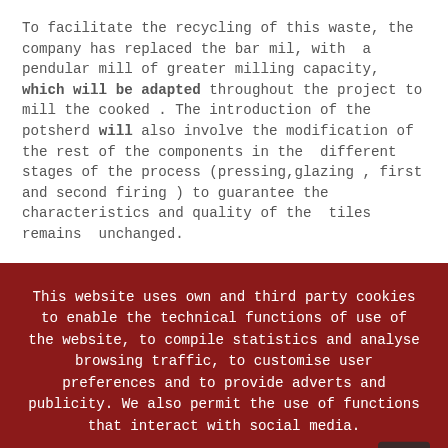To facilitate the recycling of this waste, the company has replaced the bar mil, with  a pendular mill of greater milling capacity, which will be adapted throughout the project to mill the cooked . The introduction of the potsherd will also involve the modification of the rest of the components in the  different stages of the process (pressing,glazing , first and second firing ) to guarantee the characteristics and quality of the  tiles remains  unchanged.
This website uses own and third party cookies to enable the technical functions of use of the website, to compile statistics and analyse browsing traffic, to customise user preferences and to provide adverts and publicity. We also permit the use of functions that interact with social media.
Accept - Refuse - Cookies policy - Set up